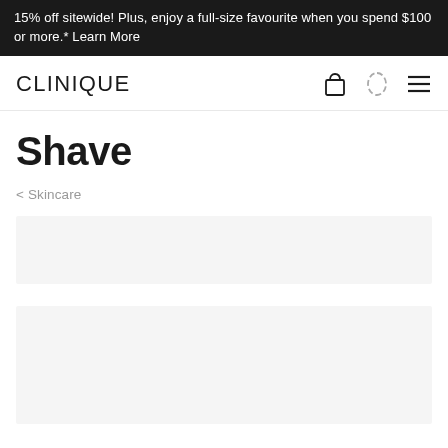15% off sitewide! Plus, enjoy a full-size favourite when you spend $100 or more.* Learn More
CLINIQUE
Shave
< Skincare
[Figure (other): Light gray placeholder product card rectangle]
[Figure (other): Light gray placeholder product card rectangle, larger]